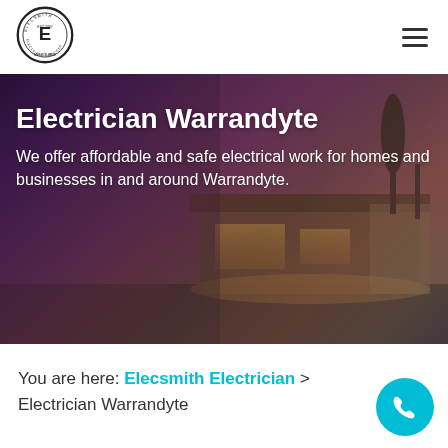[Figure (logo): Elecsmith Electrical Services circular logo with stylized E in center]
[Figure (photo): Hero banner showing a modern illuminated house at dusk with purple and warm tones]
Electrician Warrandyte
We offer affordable and safe electrical work for homes and businesses in and around Warrandyte.
You are here: Elecsmith Electrician > Electrician Warrandyte